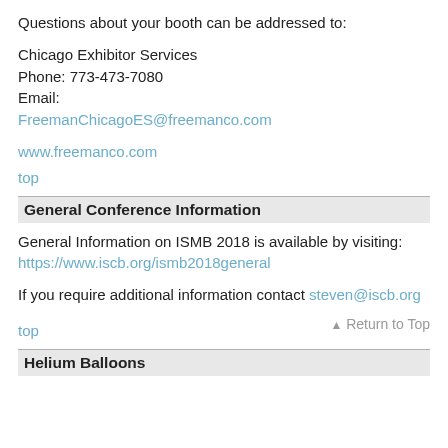Questions about your booth can be addressed to:
Chicago Exhibitor Services
Phone: 773-473-7080
Email:
FreemanChicagoES@freemanco.com
www.freemanco.com
top
General Conference Information
General Information on ISMB 2018 is available by visiting: https://www.iscb.org/ismb2018general
If you require additional information contact steven@iscb.org
top
Return to Top
Helium Balloons